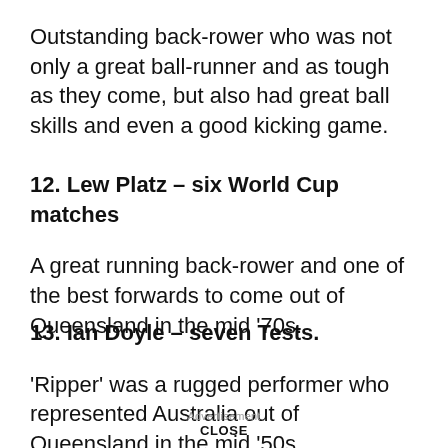Outstanding back-rower who was not only a great ball-runner and as tough as they come, but also had great ball skills and even a good kicking game.
12. Lew Platz – six World Cup matches
A great running back-rower and one of the best forwards to come out of Queensland in the mid '70s.
13. Ian Doyle – seven Tests.
'Ripper' was a rugged performer who represented Australia out of Queensland in the mid '50s.
Advertisement
CLOSE